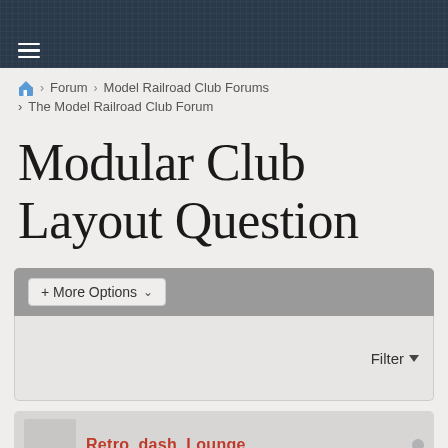Navigation header with hamburger menu
Forum › Model Railroad Club Forums › The Model Railroad Club Forum
Modular Club Layout Question
+ More Options
Filter
Retro_dash_Lounge